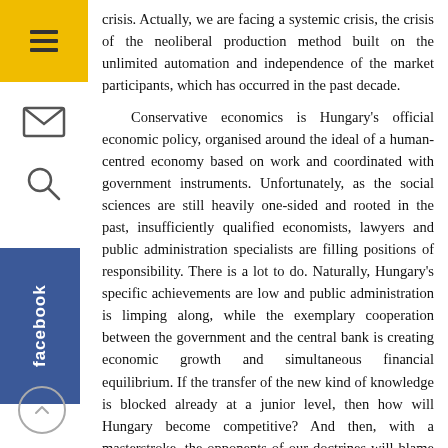crisis. Actually, we are facing a systemic crisis, the crisis of the neoliberal production method built on the unlimited automation and independence of the market participants, which has occurred in the past decade.
Conservative economics is Hungary's official economic policy, organised around the ideal of a human-centred economy based on work and coordinated with government instruments. Unfortunately, as the social sciences are still heavily one-sided and rooted in the past, insufficiently qualified economists, lawyers and public administration specialists are filling positions of responsibility. There is a lot to do. Naturally, Hungary's specific achievements are low and public administration is limping along, while the exemplary cooperation between the government and the central bank is creating economic growth and simultaneous financial equilibrium. If the transfer of the new kind of knowledge is blocked already at a junior level, then how will Hungary become competitive? And then, with a masterstroke, the opponents of our doctrines will blame Prime Minister Viktor Orbán and his government. The fact that, because of the formerly feeble performance of the Hungarian economy, several hundreds of thousands of fellow Hungarians have left the coun-